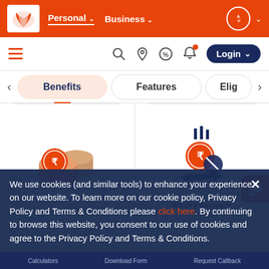Personal | Business | Login
[Figure (screenshot): Bank of Baroda logo — orange shell/fan shape on white background]
Benefits | Features | Elig
[Figure (illustration): Orange stacked coins with rupee symbol — No processing fee]
No processing fee
[Figure (illustration): Hand holding rupee coin with no symbol and bar chart above — No pre-payment]
No pre-payment
We use cookies (and similar tools) to enhance your experience on our website. To learn more on our cookie policy, Privacy Policy and Terms & Conditions please click here. By continuing to browse this website, you consent to our use of cookies and agree to the Privacy Policy and Terms & Conditions.
Calculators | Download Form | Request Callback